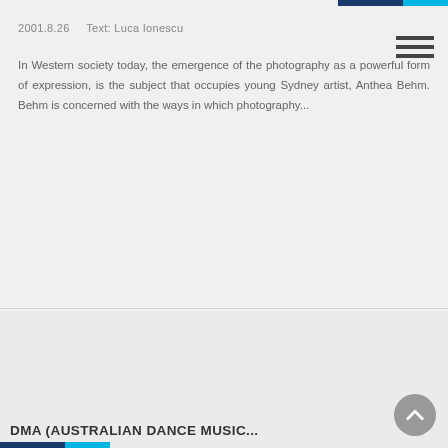2001.8.26    Text: Luca Ionescu
In Western society today, the emergence of the photography as a powerful form of expression, is the subject that occupies young Sydney artist, Anthea Behm. Behm is concerned with the ways in which photography...
DMA (AUSTRALIAN DANCE MUSIC...